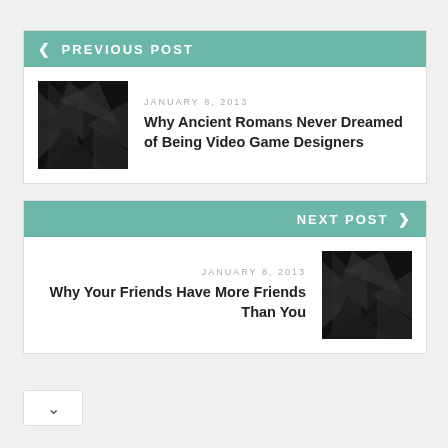< PREVIOUS POST
JANUARY 8, 2013
Why Ancient Romans Never Dreamed of Being Video Game Designers
NEXT POST >
JANUARY 8, 2013
Why Your Friends Have More Friends Than You